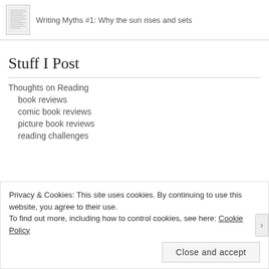Writing Myths #1: Why the sun rises and sets
Stuff I Post
Thoughts on Reading
book reviews
comic book reviews
picture book reviews
reading challenges
Privacy & Cookies: This site uses cookies. By continuing to use this website, you agree to their use.
To find out more, including how to control cookies, see here: Cookie Policy
Close and accept